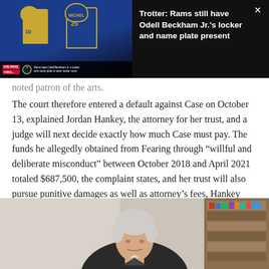[Figure (screenshot): Video overlay showing two Los Angeles Rams football players in blue and gold uniforms, with a news ticker at the bottom. To the right, on a dark background, the title reads: 'Trotter: Rams still have Odell Beckham Jr.'s locker and name plate present' with a close button.]
noted patron of the arts.
The court therefore entered a default against Case on October 13, explained Jordan Hankey, the attorney for her trust, and a judge will next decide exactly how much Case must pay. The funds he allegedly obtained from Fearing through “willful and deliberate misconduct” between October 2018 and April 2021 totaled $687,500, the complaint states, and her trust will also pursue punitive damages as well as attorney’s fees, Hankey said.
[Figure (photo): A partial photo of an elderly man with white/gray hair, wearing a dark jacket, photographed from slightly below. A bookcase is visible in the background on the right.]